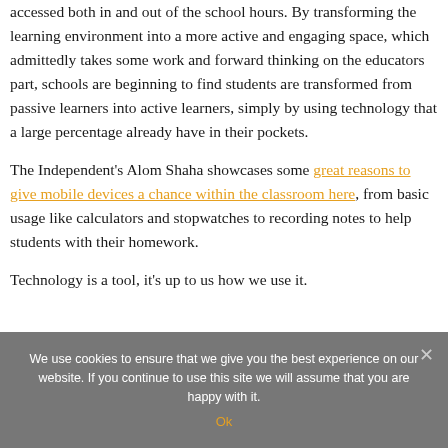accessed both in and out of the school hours. By transforming the learning environment into a more active and engaging space, which admittedly takes some work and forward thinking on the educators part, schools are beginning to find students are transformed from passive learners into active learners, simply by using technology that a large percentage already have in their pockets.
The Independent's Alom Shaha showcases some great reasons to give mobile devices a chance within the classroom here, from basic usage like calculators and stopwatches to recording notes to help students with their homework.
Technology is a tool, it's up to us how we use it.
We use cookies to ensure that we give you the best experience on our website. If you continue to use this site we will assume that you are happy with it.